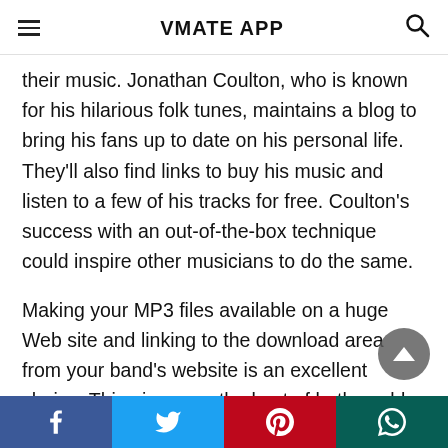VMATE APP
their music. Jonathan Coulton, who is known for his hilarious folk tunes, maintains a blog to bring his fans up to date on his personal life. They'll also find links to buy his music and listen to a few of his tracks for free. Coulton's success with an out-of-the-box technique could inspire other musicians to do the same.
Making your MP3 files available on a huge Web site and linking to the download area from your band's website is an excellent choice. This gives you the best of both worlds, allowing you to use